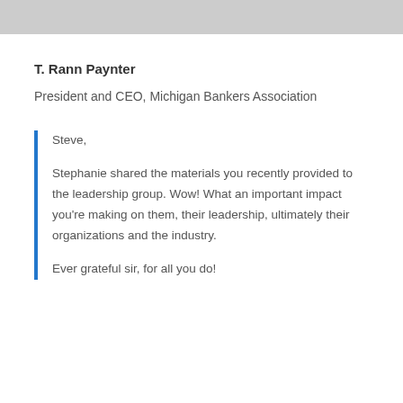T. Rann Paynter
President and CEO, Michigan Bankers Association
Steve,

Stephanie shared the materials you recently provided to the leadership group. Wow! What an important impact you're making on them, their leadership, ultimately their organizations and the industry.

Ever grateful sir, for all you do!